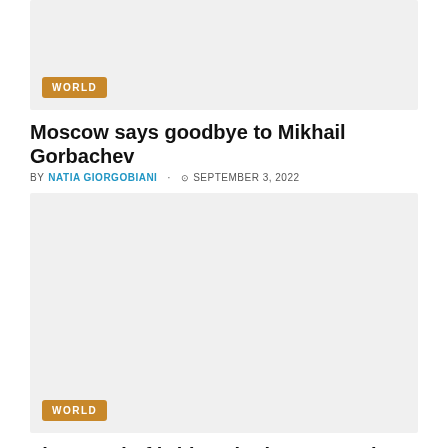[Figure (photo): Article thumbnail image with WORLD badge overlay, light gray placeholder]
Moscow says goodbye to Mikhail Gorbachev
BY NATIA GIORGOBIANI  SEPTEMBER 3, 2022
[Figure (photo): Article thumbnail image with WORLD badge overlay, light gray placeholder]
The guard of bridges in the Zaporozhye region received 15 years in prison
BY NATIA GIORGOBIANI  SEPTEMBER 3, 2022